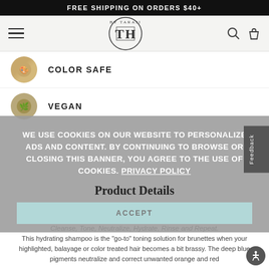FREE SHIPPING ON ORDERS $40+
[Figure (logo): FH by Taraji circular logo in the navigation bar]
COLOR SAFE
VEGAN
WE USE COOKIES ON OUR WEBSITE TO PERSONALIZE ADS AND CONTENT. BY CONTINUING TO BROWSE OR CLOSING THIS BANNER, YOU AGREE TO THE USE OF COOKIES. PRIVACY POLICY
ACCEPT
Feedback
Product Details
Cleanse, Tone, Neutralize, Hydrate, Rinse and Repeat.
This hydrating shampoo is the "go-to" toning solution for brunettes when your highlighted, balayage or color treated hair becomes a bit brassy. The deep blue pigments neutralize and correct unwanted orange and red